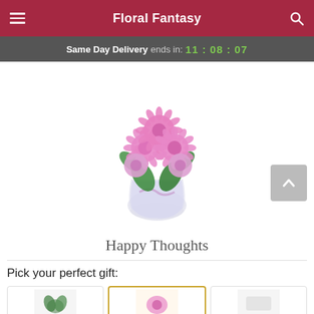Floral Fantasy
Same Day Delivery ends in: 11:08:07
[Figure (photo): A bouquet of pink chrysanthemums and small pink flowers arranged in a round glass vase with a lavender ribbon, on a white background.]
Happy Thoughts
Pick your perfect gift:
[Figure (photo): Small gift card thumbnail - partially visible floral image]
[Figure (photo): Small gift card thumbnail - selected with gold border]
[Figure (photo): Small gift card thumbnail - partially visible]